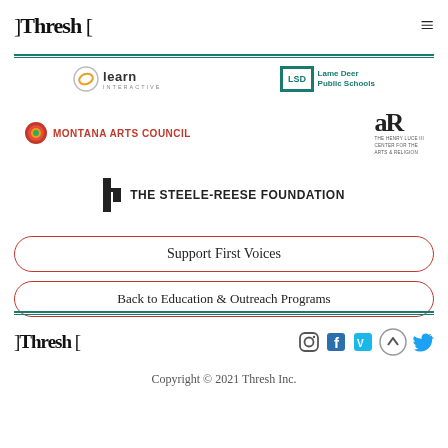]Thresh [
[Figure (logo): Learn Interactive logo]
[Figure (logo): Lame Deer Public Schools logo]
[Figure (logo): Montana Arts Council logo]
[Figure (logo): AR / The Henry Luce III Center for the Arts & Religion logo]
[Figure (logo): The Steele-Reese Foundation logo]
Support First Voices
Back to Education & Outreach Programs
]Thresh [  Copyright © 2021 Thresh Inc.